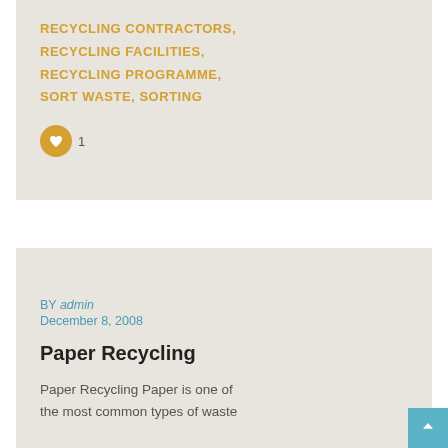RECYCLING CONTRACTORS, RECYCLING FACILITIES, RECYCLING PROGRAMME, SORT WASTE, SORTING
[Figure (other): Orange heart icon button with like count of 1]
BY admin
December 8, 2008
Paper Recycling
Paper Recycling Paper is one of the most common types of waste